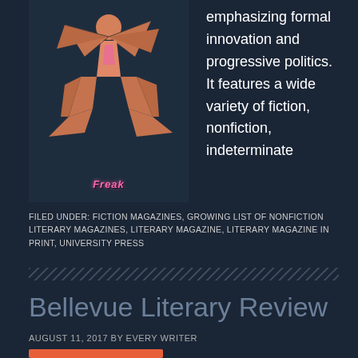[Figure (illustration): Origami-style figure of a dancer/person made from geometric triangular shapes in salmon/orange tones with a pink center, labeled 'Freak' at the bottom in pink italic text]
emphasizing formal innovation and progressive politics. It features a wide variety of fiction, nonfiction, indeterminate
FILED UNDER: FICTION MAGAZINES, GROWING LIST OF NONFICTION LITERARY MAGAZINES, LITERARY MAGAZINE, LITERARY MAGAZINE IN PRINT, UNIVERSITY PRESS
Bellevue Literary Review
AUGUST 11, 2017 BY EVERY WRITER